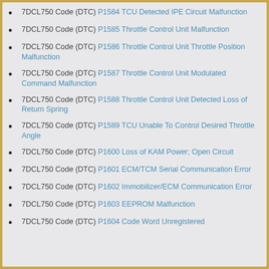7DCL750 Code (DTC) P1584 TCU Detected IPE Circuit Malfunction
7DCL750 Code (DTC) P1585 Throttle Control Unit Malfunction
7DCL750 Code (DTC) P1586 Throttle Control Unit Throttle Position Malfunction
7DCL750 Code (DTC) P1587 Throttle Control Unit Modulated Command Malfunction
7DCL750 Code (DTC) P1588 Throttle Control Unit Detected Loss of Return Spring
7DCL750 Code (DTC) P1589 TCU Unable To Control Desired Throttle Angle
7DCL750 Code (DTC) P1600 Loss of KAM Power; Open Circuit
7DCL750 Code (DTC) P1601 ECM/TCM Serial Communication Error
7DCL750 Code (DTC) P1602 Immobilizer/ECM Communication Error
7DCL750 Code (DTC) P1603 EEPROM Malfunction
7DCL750 Code (DTC) P1604 Code Word Unregistered